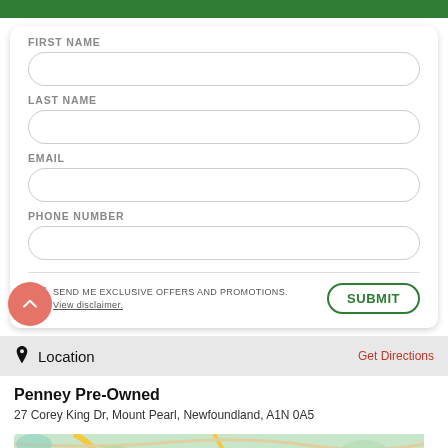FIRST NAME
LAST NAME
EMAIL
PHONE NUMBER
SEND ME EXCLUSIVE OFFERS AND PROMOTIONS. View disclaimer.
SUBMIT
Location
Get Directions
Penney Pre-Owned
27 Corey King Dr, Mount Pearl, Newfoundland, A1N 0A5
[Figure (map): Map preview showing location of Penney Pre-Owned in Mount Pearl, Newfoundland with a red location pin marker]